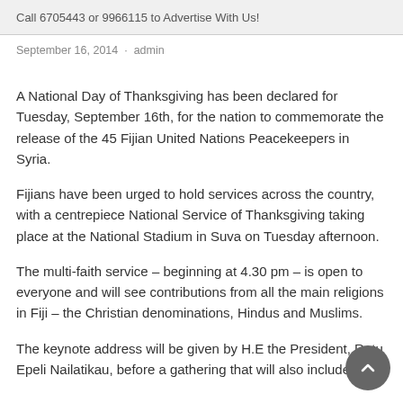Call 6705443 or 9966115 to Advertise With Us!
September 16, 2014 · admin
A National Day of Thanksgiving has been declared for Tuesday, September 16th, for the nation to commemorate the release of the 45 Fijian United Nations Peacekeepers in Syria.
Fijians have been urged to hold services across the country, with a centrepiece National Service of Thanksgiving taking place at the National Stadium in Suva on Tuesday afternoon.
The multi-faith service – beginning at 4.30 pm – is open to everyone and will see contributions from all the main religions in Fiji – the Christian denominations, Hindus and Muslims.
The keynote address will be given by H.E the President, Ratu Epeli Nailatikau, before a gathering that will also include the